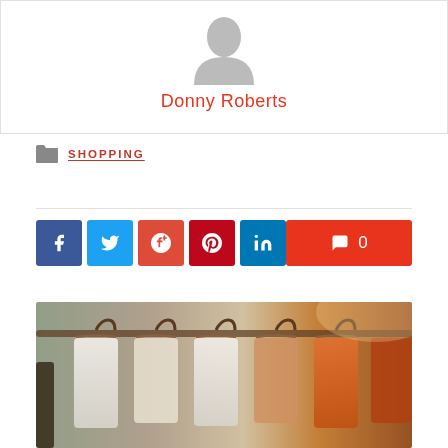[Figure (illustration): Author avatar placeholder silhouette (grey person icon on white background)]
Donny Roberts
SHOPPING
[Figure (illustration): Social share buttons: Facebook, Twitter, Google+, Pinterest, LinkedIn, and a comment count button showing 0]
[Figure (photo): Photo of clothing on hangers on a rack, blurred background with warm orange tones on right side]